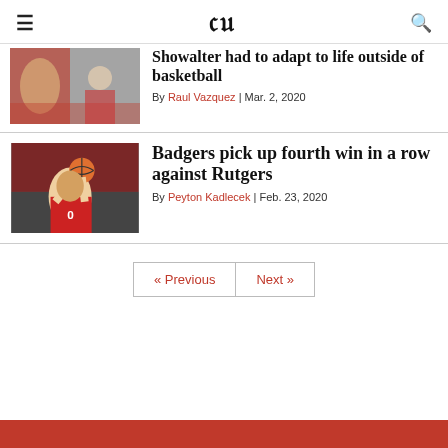DC
[Figure (photo): Basketball crowd photo (partially visible), article thumbnail for Showalter story]
Showalter had to adapt to life outside of basketball
By Raul Vazquez | Mar. 2, 2020
[Figure (photo): Basketball player in Wisconsin #0 jersey shooting the ball, article thumbnail for Badgers story]
Badgers pick up fourth win in a row against Rutgers
By Peyton Kadlecek | Feb. 23, 2020
« Previous   Next »